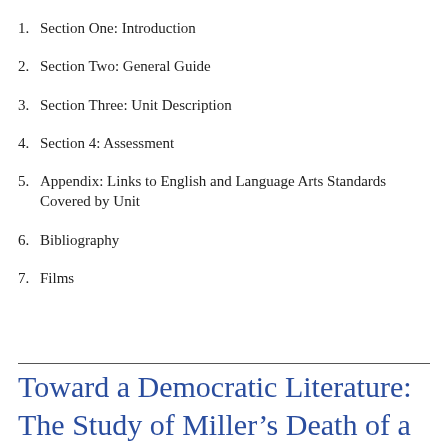1. Section One: Introduction
2. Section Two: General Guide
3. Section Three: Unit Description
4. Section 4: Assessment
5. Appendix: Links to English and Language Arts Standards Covered by Unit
6. Bibliography
7. Films
Toward a Democratic Literature: The Study of Miller’s Death of a